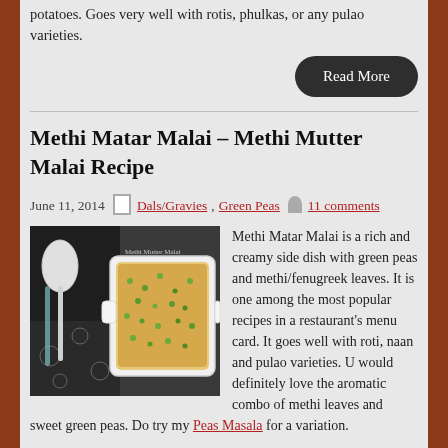potatoes. Goes very well with rotis, phulkas, or any pulao varieties.
Read More
Methi Matar Malai – Methi Mutter Malai Recipe
June 11, 2014   Dals/Gravies, Green Peas   11 comments
[Figure (photo): A white baking dish filled with Methi Mutter Malai, a creamy green peas and fenugreek dish, with a spoon nearby on a dark floral cloth background. Text overlay reads 'Methi Mutter Malai'.]
Methi Matar Malai is a rich and creamy side dish with green peas and methi/fenugreek leaves. It is one among the most popular recipes in a restaurant's menu card. It goes well with roti, naan and pulao varieties. U would definitely love the aromatic combo of methi leaves and sweet green peas. Do try my Peas Masala for a variation.
Now t...